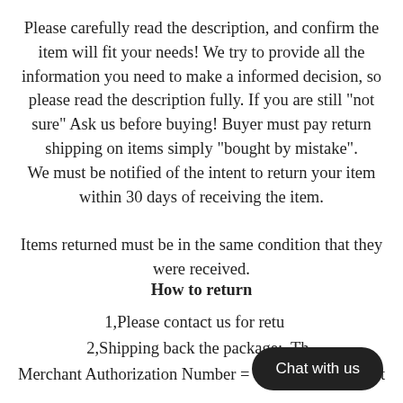Please carefully read the description, and confirm the item will fit your needs! We try to provide all the information you need to make a informed decision, so please read the description fully. If you are still "not sure" Ask us before buying! Buyer must pay return shipping on items simply "bought by mistake". We must be notified of the intent to return your item within 30 days of receiving the item.

Items returned must be in the same condition that they were received.
How to return
1,Please contact us for retu...
2,Shipping back the package:  Th...
Merchant Authorization Number = Your ebay ID) must